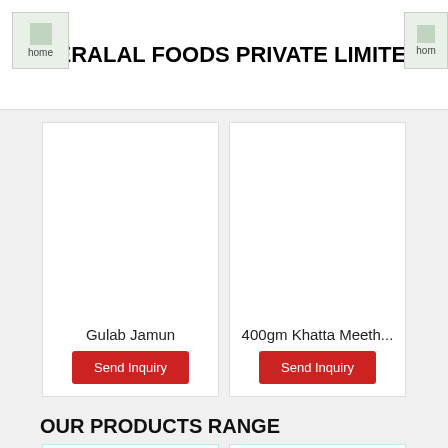HEERALAL FOODS PRIVATE LIMITED
Gulab Jamun
Send Inquiry
400gm Khatta Meeth...
Send Inquiry
OUR PRODUCTS RANGE